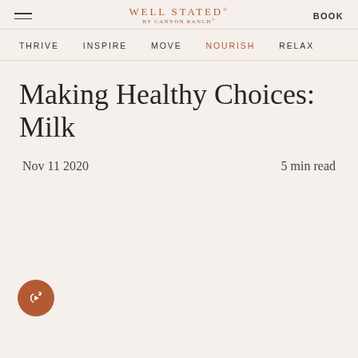WELL STATED BY CANYON RANCH | BOOK
THRIVE  INSPIRE  MOVE  NOURISH  RELAX
Making Healthy Choices: Milk
Nov 11 2020  |  5 min read
[Figure (other): Share/forward button (circular orange icon with share arrow)]